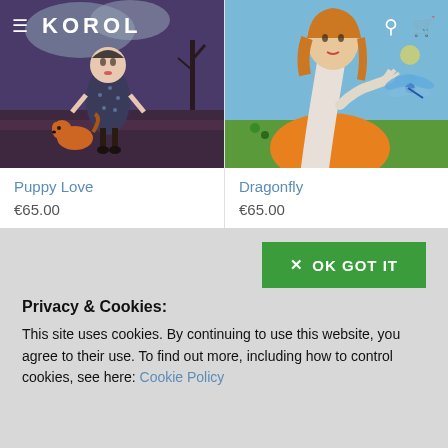KOROL
[Figure (illustration): Painting of a girl in a dotted dress standing in a dark purplish landscape with a small orange dog at her feet]
Puppy Love
€65.00
[Figure (illustration): Painting of a woman with long neck holding a dragonfly, colorful background with blue sky and green grass]
Dragonfly
€65.00
Privacy & Cookies:
This site uses cookies. By continuing to use this website, you agree to their use. To find out more, including how to control cookies, see here: Cookie Policy